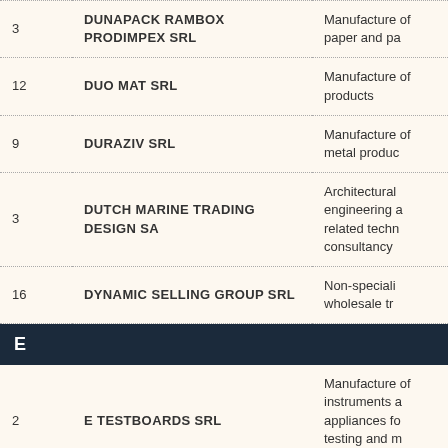| # | Company Name | Description |
| --- | --- | --- |
| 3 | DUNAPACK RAMBOX PRODIMPEX SRL | Manufacture of paper and pa... |
| 12 | DUO MAT SRL | Manufacture of products |
| 9 | DURAZIV SRL | Manufacture of metal produc... |
| 3 | DUTCH MARINE TRADING DESIGN SA | Architectural engineering and related techn... consultancy |
| 16 | DYNAMIC SELLING GROUP SRL | Non-speciali... wholesale tr... |
| E |  |  |
| 2 | E TESTBOARDS SRL | Manufacture of instruments a... appliances fo... testing and m... watches and... |
| 33 | E.N.B. SRL | Wholesale o... beverages a... |
| 2 | E ON ROMANIA SRL | Managemen... |